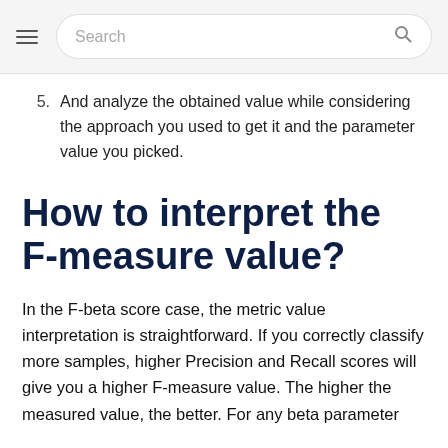Search
5. And analyze the obtained value while considering the approach you used to get it and the parameter value you picked.
How to interpret the F-measure value?
In the F-beta score case, the metric value interpretation is straightforward. If you correctly classify more samples, higher Precision and Recall scores will give you a higher F-measure value. The higher the measured value, the better. For any beta parameter